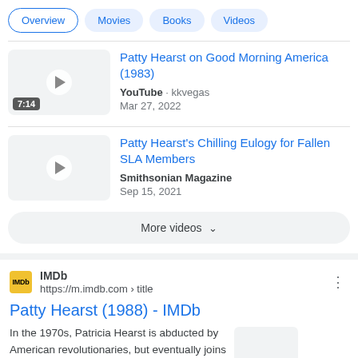Overview | Movies | Books | Videos
Patty Hearst on Good Morning America (1983)
YouTube · kkvegas
Mar 27, 2022
Patty Hearst's Chilling Eulogy for Fallen SLA Members
Smithsonian Magazine
Sep 15, 2021
More videos
IMDb
https://m.imdb.com › title
Patty Hearst (1988) - IMDb
In the 1970s, Patricia Hearst is abducted by American revolutionaries, but eventually joins